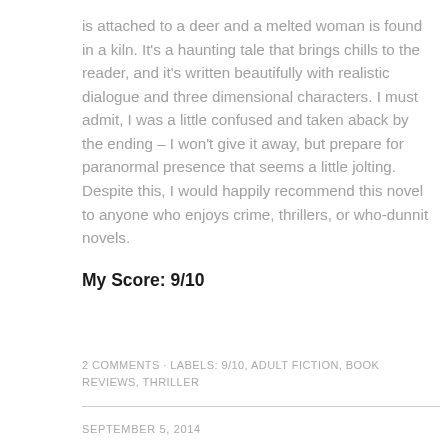is attached to a deer and a melted woman is found in a kiln. It's a haunting tale that brings chills to the reader, and it's written beautifully with realistic dialogue and three dimensional characters. I must admit, I was a little confused and taken aback by the ending – I won't give it away, but prepare for paranormal presence that seems a little jolting. Despite this, I would happily recommend this novel to anyone who enjoys crime, thrillers, or who-dunnit novels.
My Score: 9/10
2 COMMENTS · LABELS: 9/10, ADULT FICTION, BOOK REVIEWS, THRILLER
SEPTEMBER 5, 2014